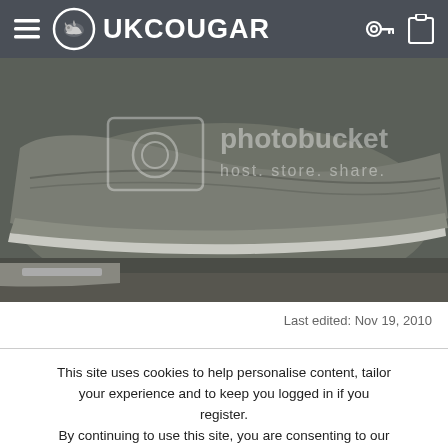UKCOUGAR
[Figure (photo): Close-up photo of a car leather seat showing worn/damaged seat bolster, with a Photobucket watermark overlay reading 'photobucket host. store. share.']
Last edited: Nov 19, 2010
This site uses cookies to help personalise content, tailor your experience and to keep you logged in if you register. By continuing to use this site, you are consenting to our use of cookies.